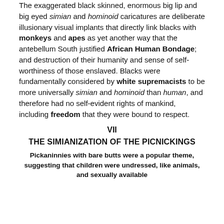The exaggerated black skinned, enormous big lip and big eyed simian and hominoid caricatures are deliberate illusionary visual implants that directly link blacks with monkeys and apes as yet another way that the antebellum South justified African Human Bondage; and destruction of their humanity and sense of self-worthiness of those enslaved. Blacks were fundamentally considered by white supremacists to be more universally simian and hominoid than human, and therefore had no self-evident rights of mankind, including freedom that they were bound to respect.
VII
THE SIMIANIZATION OF THE PICNICKINGS
Pickaninnies with bare butts were a popular theme, suggesting that children were undressed, like animals, and sexually available